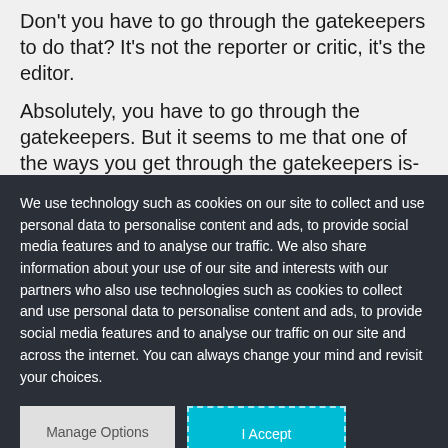Don't you have to go through the gatekeepers to do that? It's not the reporter or critic, it's the editor.
Absolutely, you have to go through the gatekeepers. But it seems to me that one of the ways you get through the gatekeepers is-if you can get jazz coverage in one place, then the others will want to do
We use technology such as cookies on our site to collect and use personal data to personalise content and ads, to provide social media features and to analyse our traffic. We also share information about your use of our site and interests with our partners who also use technologies such as cookies to collect and use personal data to personalise content and ads, to provide social media features and to analyse our traffic on our site and across the internet. You can always change your mind and revisit your choices.